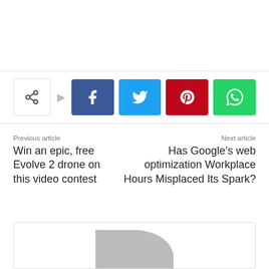[Figure (infographic): Social share buttons row: a share icon button, followed by Facebook (blue), Twitter (cyan), Pinterest (red), and WhatsApp (green) icon buttons]
Previous article
Win an epic, free Evolve 2 drone on this video contest
Next article
Has Google’s web optimization Workplace Hours Misplaced Its Spark?
[Figure (illustration): Author avatar placeholder box with a grey silhouette shape]